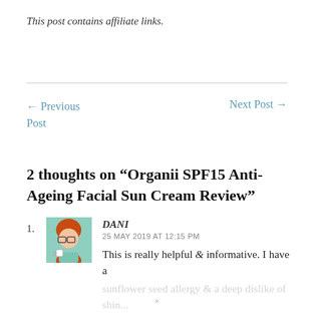This post contains affiliate links.
← Previous Post   Next Post →
2 thoughts on “Organii SPF15 Anti-Ageing Facial Sun Cream Review”
1. DANI
25 MAY 2019 AT 12:15 PM
This is really helpful & informative. I have a
sunflower seed allergy & a deep dislike of shin...